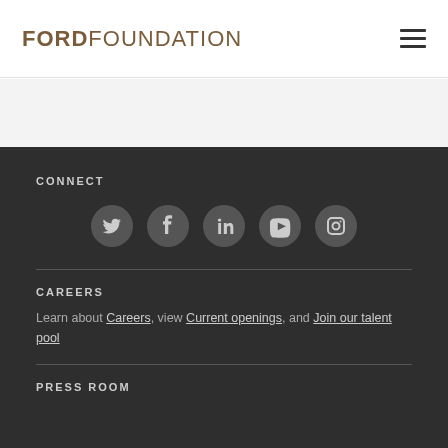FORD FOUNDATION
[Figure (logo): Ford Foundation logo with hamburger menu icon]
CONNECT
[Figure (infographic): Social media icons: Twitter, Facebook, LinkedIn, YouTube, Instagram]
CAREERS
Learn about Careers, view Current openings, and Join our talent pool
PRESS ROOM